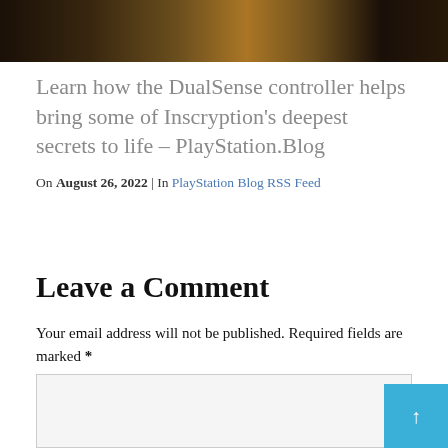[Figure (photo): Dark decorative image strip at top of page showing game artwork with warm amber/gold tones]
Learn how the DualSense controller helps bring some of Inscryption's deepest secrets to life – PlayStation.Blog
On August 26, 2022 | In PlayStation Blog RSS Feed
Leave a Comment
Your email address will not be published. Required fields are marked *